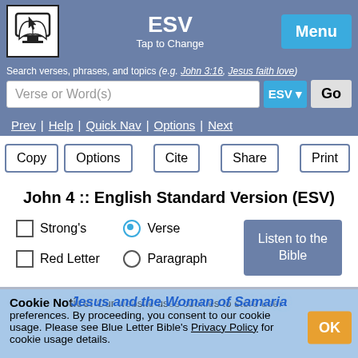ESV | Tap to Change | Menu
Search verses, phrases, and topics (e.g. John 3:16, Jesus faith love)
Verse or Word(s) | ESV ▾ | Go
Prev | Help | Quick Nav | Options | Next
Copy | Options | Cite | Share | Print
John 4 :: English Standard Version (ESV)
Strong's | Verse (selected) | Listen to the Bible | Red Letter | Paragraph
Jesus and the Woman of Samaria
Cookie Notice: Our website uses cookies to store user preferences. By proceeding, you consent to our cookie usage. Please see Blue Letter Bible's Privacy Policy for cookie usage details.
Jhn 4:1 - Now when Jesus learned that